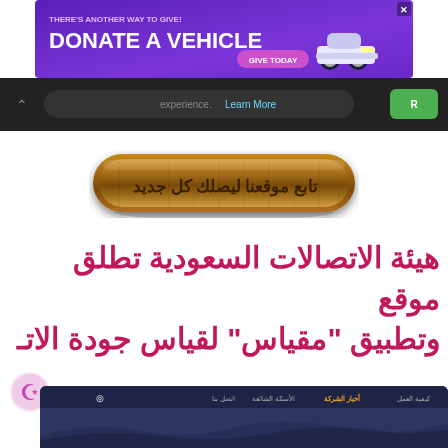[Figure (screenshot): Purple advertisement banner: THERE'S ANOTHER WAY TO GIVE! DONATE A VEHICLE GIVE TODAY with car image]
[Figure (screenshot): Browser chrome bar showing partial URL with 'experience. Learn More' text and green button]
[Figure (illustration): Wooden rounded button with Arabic text: تابع موقعنا ليصلك كل جديد]
هيئة الاتصالات السعودية تطلق موقع وتطبيق "مقياس" لقياس جودة الاتـ
[Figure (screenshot): Bottom partial screenshot of Miqyas website with dark navy background, navigation bar with Arabic links]